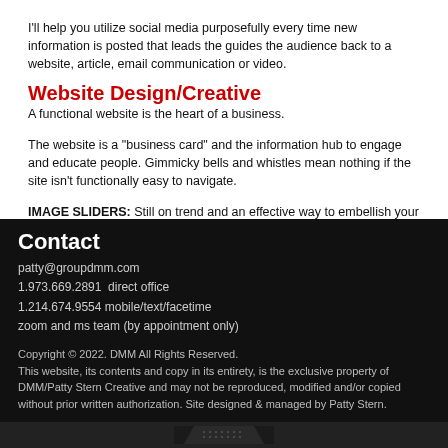I'll help you utilize social media purposefully every time new information is posted that leads the guides the audience back to a website, article, email communication or video.
Website Design/Creative
A functional website is the heart of a business.
The website is a "business card" and the information hub to engage and educate people.  Gimmicky bells and whistles mean nothing if the site isn't functionally easy to navigate.
IMAGE SLIDERS:  Still on trend and an effective way to embellish your messaging AND guide visitors directly to important information on the website! Multiple options for placement, sizing and colors are available. WEBSITE BANNERS : Do you have sponsors or industry partners to showcase? Banners are a perfect way to showcase them and provide extra marketing exposure through your site! (Can be offered complimentary or be a revenue generator, per your company policies.)
Contact
patty@groupdmm.com
1.973.669.2891  direct office
1.214.674.9554 mobile/text/facetime
zoom and ms team (by appointment only)
Copyright © 2022. DMM All Rights Reserved.
This website, its contents and copy in its entirety, is the exclusive property of DMM/Patty Stern Creative and may not be reproduced, modified and/or copied without prior written authorization. Site designed & managed by Patty Stern.